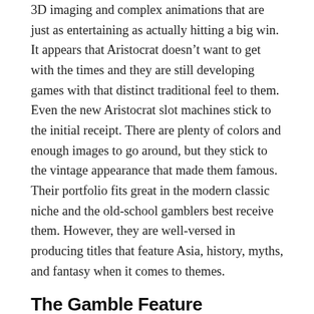3D imaging and complex animations that are just as entertaining as actually hitting a big win. It appears that Aristocrat doesn't want to get with the times and they are still developing games with that distinct traditional feel to them. Even the new Aristocrat slot machines stick to the initial receipt. There are plenty of colors and enough images to go around, but they stick to the vintage appearance that made them famous. Their portfolio fits great in the modern classic niche and the old-school gamblers best receive them. However, they are well-versed in producing titles that feature Asia, history, myths, and fantasy when it comes to themes.
The Gamble Feature
The inclusion of the gamble feature is a stable feature for all Aristocrat slot machines. When you register a win,, you have the option to click on the GAMBLE button. By doing so, you have the chance of doubling or even